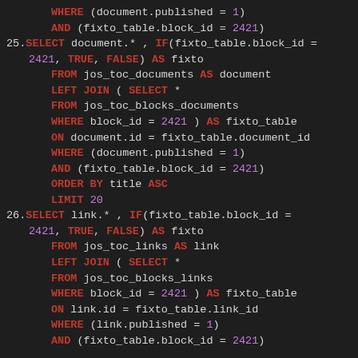SQL code listing showing queries 25 and 26 with SELECT, FROM, LEFT JOIN, WHERE, ON, ORDER BY, LIMIT clauses using fixto_table with block_id = 2421